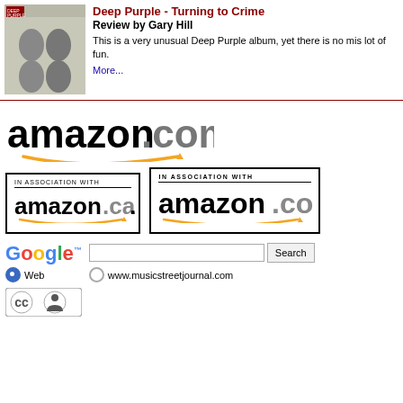Deep Purple - Turning to Crime
Review by Gary Hill
This is a very unusual Deep Purple album, yet there is no mis- lot of fun.
More...
[Figure (logo): amazon.com logo with orange arrow]
[Figure (logo): In association with amazon.ca logo in black border box]
[Figure (logo): In association with amazon.co.uk logo in black border box]
[Figure (logo): Google search bar with Web and www.musicstreetjournal.com radio options]
[Figure (logo): Creative Commons license logo (cc) with person icon]